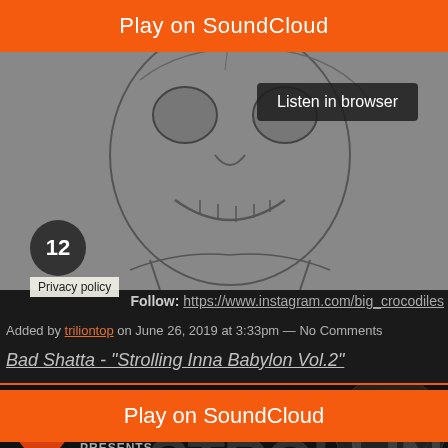Play on SoundCloud
[Figure (illustration): Grayscale pencil sketch artwork showing cartoon skull/crocodile character with a smile, gray background]
Listen in browser
12
Privacy policy
Follow: https://www.instagram.com/big_crocodiles
Added by triliontop on June 26, 2019 at 3:33pm — No Comments
Bad Shatta - "Strolling Inna Babylon Vol.2"
[Figure (screenshot): SoundCloud player embed showing BADSHATTA - Strolling Inna Babylon Vol.2 with orange play button and dark background with large STROLLING text]
Play on SoundCloud